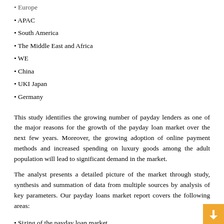• Europe
• APAC
• South America
• The Middle East and Africa
• WE
• China
• UKI Japan
• Germany
This study identifies the growing number of payday lenders as one of the major reasons for the growth of the payday loan market over the next few years. Moreover, the growing adoption of online payment methods and increased spending on luxury goods among the adult population will lead to significant demand in the market.
The analyst presents a detailed picture of the market through study, synthesis and summation of data from multiple sources by analysis of key parameters. Our payday loans market report covers the following areas:
• Sizing of the payday loan market
• Payday loan market forecasts
• Industry analysis of the payday loan market